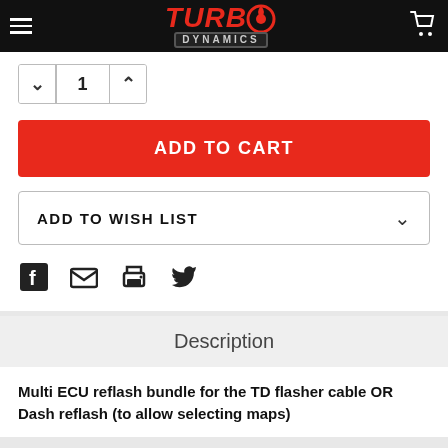Turbo Dynamics
[Figure (screenshot): Quantity selector with down arrow, value 1, up arrow]
ADD TO CART
ADD TO WISH LIST
[Figure (infographic): Social sharing icons: Facebook, Email, Print, Twitter]
Description
Multi ECU reflash bundle for the TD flasher cable OR Dash reflash (to allow selecting maps)